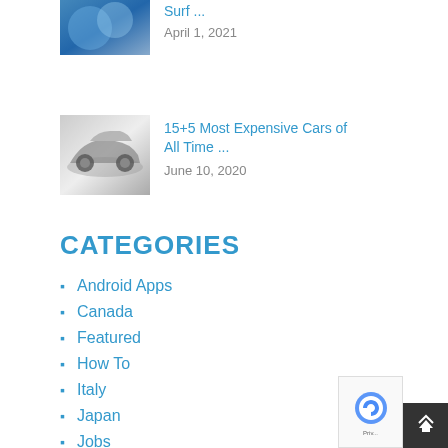[Figure (photo): Partially visible article thumbnail showing blue abstract/tech image (Surf article)]
Surf ...
April 1, 2021
[Figure (photo): Thumbnail of a silver sports car on gray background]
15+5 Most Expensive Cars of All Time ...
June 10, 2020
CATEGORIES
Android Apps
Canada
Featured
How To
Italy
Japan
Jobs